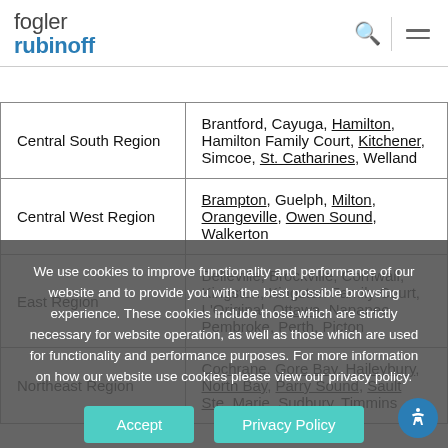fogler rubinoff
| Region | Courts/Cities |
| --- | --- |
| Central South Region | Brantford, Cayuga, Hamilton, Hamilton Family Court, Kitchener, Simcoe, St. Catharines, Welland |
| Central West Region | Brampton, Guelph, Milton, Orangeville, Owen Sound, Walkerton |
| East Region | Belleville, Brockville, Cornwall, Kingston, Kingston Family Court, L'Original, Ottawa, Napanee, Pembroke, Perth, Picton |
| Northeast Region | Cochrane, Gore Bay, Haileybury, North Bay, Parry Sound, Sault Ste. Marie, Sudbury, Timmins |
We use cookies to improve functionality and performance of our website and to provide you with the best possible browsing experience. These cookies include those which are strictly necessary for website operation, as well as those which are used for functionality and performance purposes. For more information on how our website use cookies please view our privacy policy.